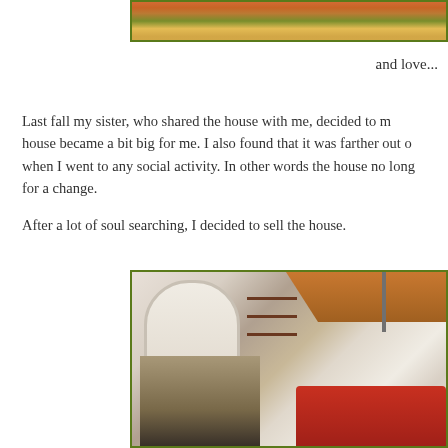[Figure (photo): Top portion of a photo showing colorful items, partially cropped at top of page]
and love...
Last fall my sister, who shared the house with me, decided to move. The house became a bit big for me. I also found that it was farther out of town when I went to any social activity. In other words the house no longer worked for a change.
After a lot of soul searching, I decided to sell the house.
[Figure (photo): Interior photo of a home showing a living room with fireplace, arched architectural details, wall decorations, floating shelves, red sofas, and kitchen visible in background]